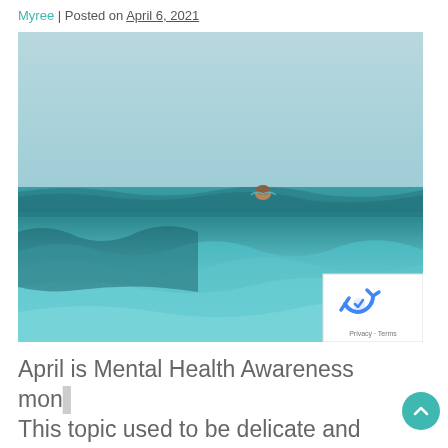Myree | Posted on April 6, 2021
[Figure (photo): A person's head barely visible above choppy teal ocean waves, with a light blue-grey sky above. Low water-level perspective looking across the surface of the water.]
April is Mental Health Awareness mon… This topic used to be delicate and highly…